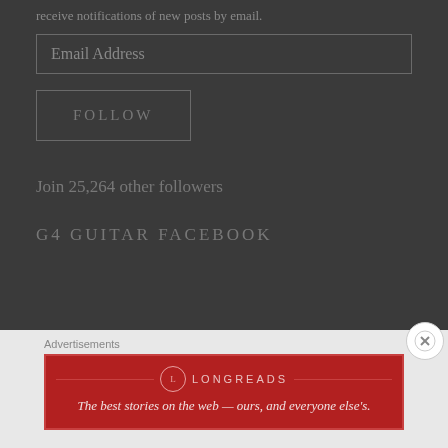receive notifications of new posts by email.
Email Address
FOLLOW
Join 25,264 other followers
G4 GUITAR FACEBOOK
Advertisements
[Figure (logo): Longreads advertisement banner — red background with Longreads logo and tagline: The best stories on the web — ours, and everyone else's.]